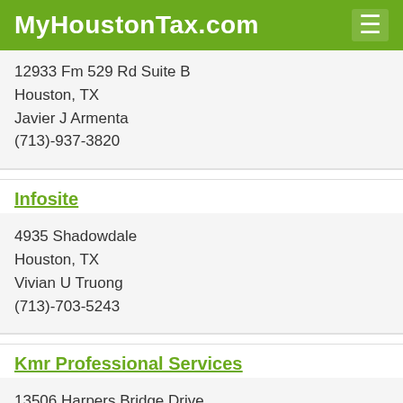MyHoustonTax.com
12933 Fm 529 Rd Suite B
Houston, TX
Javier J Armenta
(713)-937-3820
Infosite
4935 Shadowdale
Houston, TX
Vivian U Truong
(713)-703-5243
Kmr Professional Services
13506 Harpers Bridge Drive
Houston, TX
Maria R Alvarado
(713)-856-8639
Liberty Tax Service